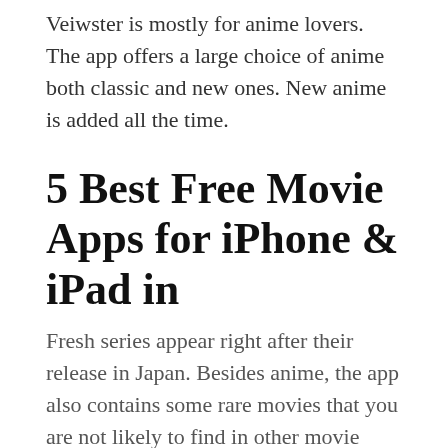Veiwster is mostly for anime lovers. The app offers a large choice of anime both classic and new ones. New anime is added all the time.
5 Best Free Movie Apps for iPhone & iPad in
Fresh series appear right after their release in Japan. Besides anime, the app also contains some rare movies that you are not likely to find in other movie streaming apps: However, if you want a watchlist, the subscription is necessary — as always. So, are you ready to immerse yourself in the world of anime? Then go to the App Store right now!
SnagFilms presents a huge collection of movies